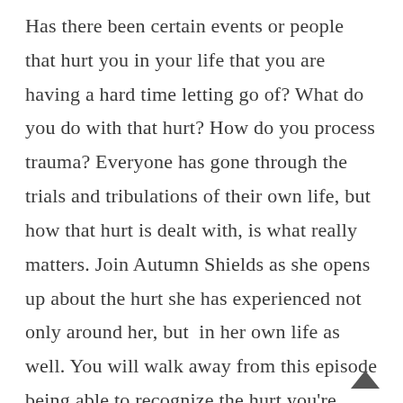Has there been certain events or people that hurt you in your life that you are having a hard time letting go of? What do you do with that hurt? How do you process trauma? Everyone has gone through the trials and tribulations of their own life, but how that hurt is dealt with, is what really matters. Join Autumn Shields as she opens up about the hurt she has experienced not only around her, but  in her own life as well. You will walk away from this episode being able to recognize the hurt you're hanging on to, if you've created an identity around your hurt, and tools to help you let go of that hurt so you can